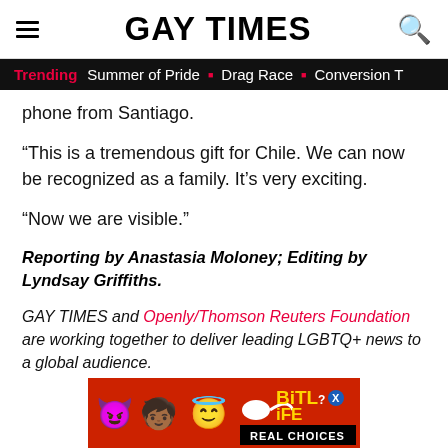GAY TIMES
Trending  Summer of Pride  ■  Drag Race  ■  Conversion T
phone from Santiago.
“This is a tremendous gift for Chile. We can now be recognized as a family. It’s very exciting.
“Now we are visible.”
Reporting by Anastasia Moloney; Editing by Lyndsay Griffiths.
GAY TIMES and Openly/Thomson Reuters Foundation are working together to deliver leading LGBTQ+ news to a global audience.
[Figure (screenshot): BitLife mobile game advertisement banner with colourful emojis (devil, woman, angel emoji face) and BitLife logo in yellow on red background, with 'REAL CHOICES' text in black box]